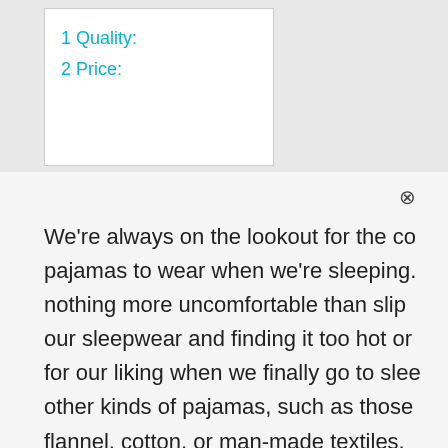1 Quality:
2 Price:
We're always on the lookout for the co pajamas to wear when we're sleeping. nothing more uncomfortable than slip our sleepwear and finding it too hot or for our liking when we finally go to slee other kinds of pajamas, such as those flannel, cotton, or man-made textiles, touch us in all the wrong places and m irritating to sensitive skin. If you are dis with your existing sleepwear, it is time t experiment with silk pajamas. Mens sil are constructed of high-quality mulbe